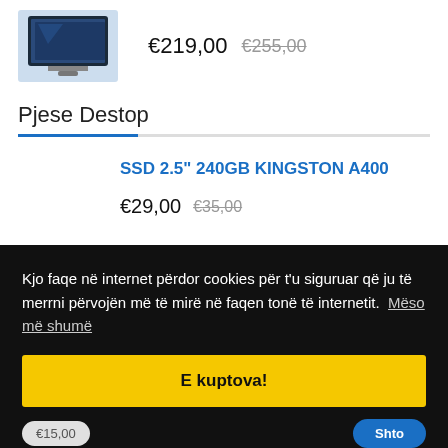[Figure (photo): Monitor/screen product image thumbnail, dark blue gaming monitor]
€219,00  €255,00
Pjese Destop
SSD 2.5" 240GB KINGSTON A400
€29,00  €35,00
Kjo faqe në internet përdor cookies për t'u siguruar që ju të merrni përvojën më të mirë në faqen tonë të internetit.  Mëso më shumë
E kuptova!